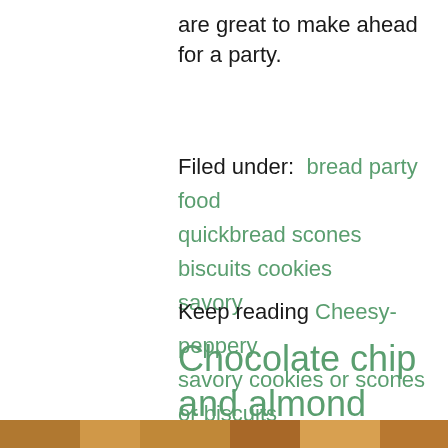are great to make ahead for a party.
Filed under:  bread party food quickbread scones biscuits cookies savory
Keep reading Cheesy-peppery savory cookies or scones or biscuits →
Chocolate chip and almond cookies
[Figure (photo): Bottom strip of a photo showing cookies, partially visible]